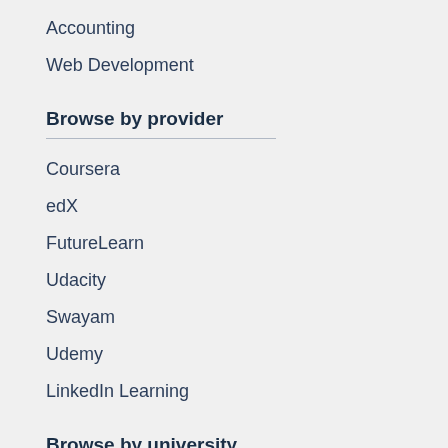Accounting
Web Development
Browse by provider
Coursera
edX
FutureLearn
Udacity
Swayam
Udemy
LinkedIn Learning
Browse by university
Harvard
Stanford
Georgia Tech
University of Michigan